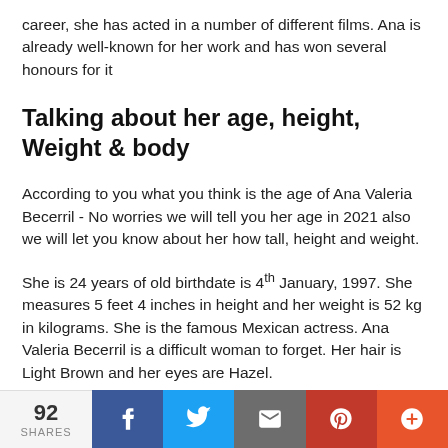career, she has acted in a number of different films. Ana is already well-known for her work and has won several honours for it
Talking about her age, height, Weight & body
According to you what you think is the age of Ana Valeria Becerril - No worries we will tell you her age in 2021 also we will let you know about her how tall, height and weight.
She is 24 years of old birthdate is 4th January, 1997. She measures 5 feet 4 inches in height and her weight is 52 kg in kilograms. She is the famous Mexican actress. Ana Valeria Becerril is a difficult woman to forget. Her hair is Light Brown and her eyes are Hazel.
How much is Ana Valeria Becerril Net Worth?
92 SHARES  f  t  email  p  +